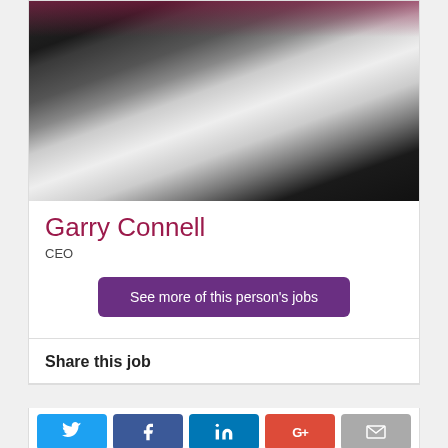[Figure (photo): Black and white headshot photo of Garry Connell, a man in a dark blazer and white shirt, with a dark magenta/crimson banner overlay at the top]
Garry Connell
CEO
See more of this person's jobs
Share this job
[Figure (infographic): Social media share buttons: Twitter (blue bird icon), Facebook (blue f), LinkedIn (blue in), Google+ (red G+), Email (grey envelope)]